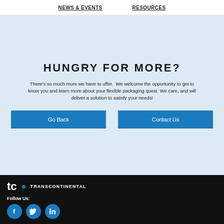NEWS & EVENTS    RESOURCES
HUNGRY FOR MORE?
There's so much more we have to offer.  We welcome the opportunity to get to know you and learn more about your flexible packaging quest. We care, and will deliver a solution to satisfy your needs!
Go Back
Contact Us
[Figure (logo): TC Transcontinental logo in white on black background]
Follow Us:
[Figure (illustration): Social media icons: Facebook, Twitter, LinkedIn in blue circles]